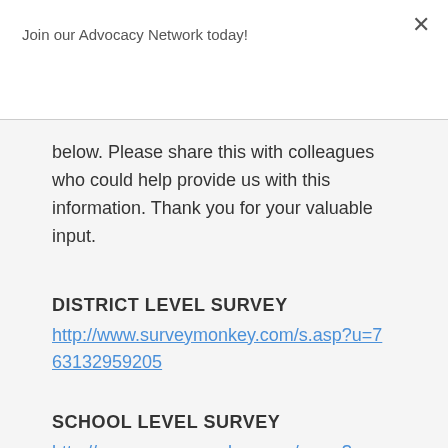Join our Advocacy Network today!
below. Please share this with colleagues who could help provide us with this information. Thank you for your valuable input.
DISTRICT LEVEL SURVEY
http://www.surveymonkey.com/s.asp?u=763132959205
SCHOOL LEVEL SURVEY
http://www.surveymonkey.com/s.asp?